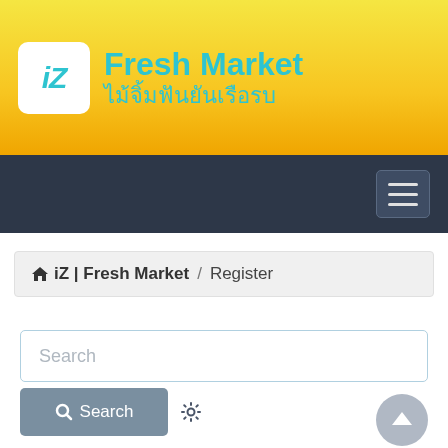[Figure (logo): iZ Fresh Market logo with cyan text on yellow gradient banner background. Logo box shows 'iZ' in cyan italic. Header text shows 'Fresh Market' and Thai subtitle 'ไม้จิ้มฟันยันเรือรบ' in cyan.]
[Figure (screenshot): Dark navy navigation bar with hamburger menu button (three horizontal lines) on the right.]
iZ | Fresh Market / Register
[Figure (screenshot): Search input box with placeholder text 'Search', a Search button with magnifying glass icon, a gear icon, and a scroll-to-top circular arrow button.]